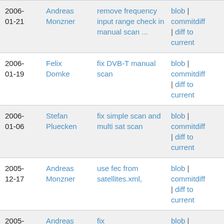| Date | Author | Message | Links |
| --- | --- | --- | --- |
| 2006-01-21 | Andreas Monzner | remove frequency input range check in manual scan ... | blob | commitdiff | diff to current |
| 2006-01-19 | Felix Domke | fix DVB-T manual scan | blob | commitdiff | diff to current |
| 2006-01-06 | Stefan Pluecken | fix simple scan and multi sat scan | blob | commitdiff | diff to current |
| 2005-12-17 | Andreas Monzner | use fec from satellites.xml, | blob | commitdiff | diff to current |
| 2005-12-16 | Andreas Monzner | fix | blob | commitdiff |